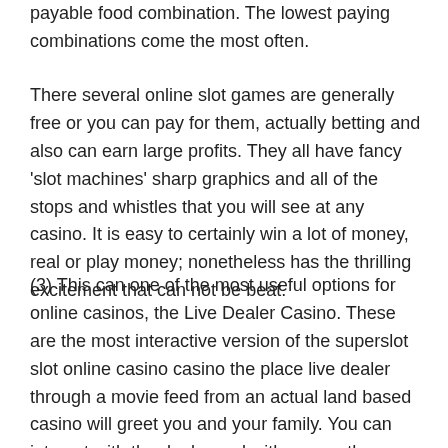payable food combination. The lowest paying combinations come the most often.
There several online slot games are generally free or you can pay for them, actually betting and also can earn large profits. They all have fancy 'slot machines' sharp graphics and all of the stops and whistles that you will see at any casino. It is easy to certainly win a lot of money, real or play money; nonetheless has the thrilling excitement that can not be beat.
(3) This can one of the most useful options for online casinos, the Live Dealer Casino. These are the most interactive version of the superslot slot online casino casino the place live dealer through a movie feed from an actual land based casino will greet you and your family. You can interact with the dealer and with many other players who may be playing sign in table. Live dealer casinos will present real casino experience and not leave your house.